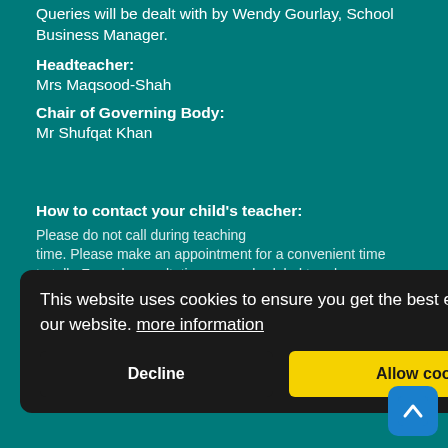Queries will be dealt with by Wendy Gourlay, School Business Manager.
Headteacher:
Mrs Maqsood-Shah
Chair of Governing Body:
Mr Shufqat Khan
How to contact your child's teacher:
Please do not call during teaching time. Please make an appointment for a convenient time to talk. Formal consultations are scheduled termly.
If you would like to see the Headteacher,
Appointments may be made to see the Headteacher by contacting Mrs Rachel Metcalfe, Leadership PA, via the office.